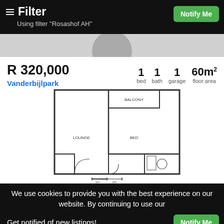Filter
Using filter "Rosashof AH"
R 320,000
Vanderbijlpark
1 bed  1 bath  1 garage  60m² floor area
[Figure (engineering-diagram): Apartment floor plan showing lounge, bed room, balcony, bathroom, kitchen areas with scale bar]
We use cookies to provide you with the best experience on our website. By continuing to use our
Get notified of new listings!